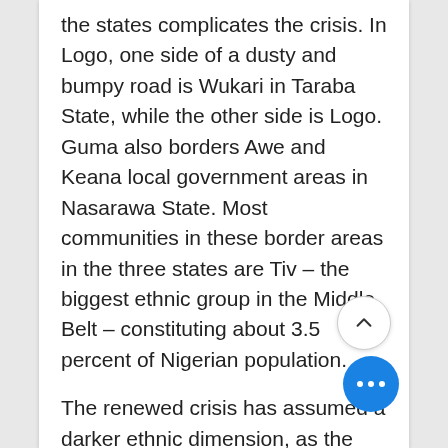the states complicates the crisis. In Logo, one side of a dusty and bumpy road is Wukari in Taraba State, while the other side is Logo. Guma also borders Awe and Keana local government areas in Nasarawa State. Most communities in these border areas in the three states are Tiv – the biggest ethnic group in the Middle Belt – constituting about 3.5 percent of Nigerian population.
The renewed crisis has assumed a darker ethnic dimension, as the Fulani herdsmen who left Benue in droves were alleged to have expressed their anger on these Tiv farming communities by burning their huts, destroying their crops and feeding their